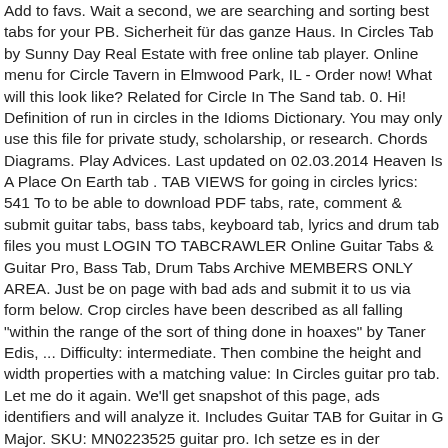Add to favs. Wait a second, we are searching and sorting best tabs for you. PB. Sicherheit für das ganze Haus. In Circles Tab by Sunny Day Real Estate with free online tab player. Online menu for Circle Tavern in Elmwood Park, IL - Order now! What will this look like? Related for Circle In The Sand tab. 0. Hi! Definition of run in circles in the Idioms Dictionary. You may only use this file for private study, scholarship, or research. Chords Diagrams. Play Advices. Last updated on 02.03.2014 Heaven Is A Place On Earth tab . TAB VIEWS for going in circles lyrics: 541 To to be able to download PDF tabs, rate, comment & submit guitar tabs, bass tabs, keyboard tab, lyrics and drum tab files you must LOGIN TO TABCRAWLER Online Guitar Tabs & Guitar Pro, Bass Tab, Drum Tabs Archive MEMBERS ONLY AREA. Just be on page with bad ads and submit it to us via form below. Crop circles have been described as all falling "within the range of the sort of thing done in hoaxes" by Taner Edis, ... Difficulty: intermediate. Then combine the height and width properties with a matching value: In Circles guitar pro tab. Let me do it again. We'll get snapshot of this page, ads identifiers and will analyze it. Includes Guitar TAB for Guitar in G Major. SKU: MN0223525 guitar pro. Ich setze es in der Zusammenarbeit mit meinen Kunden ein und habe auch meine eigene Beratung rund um das "Why, How, What" Modell aufgebaut. In Circles Bass Tab by Sunny Day Real Estate with free online tab player. View official tab. Recommended by The Wall Street Journal Please state your approach (with a diagram) and provide supporting theorems and properties used. Guitar Tabs Universe Das Beispiel